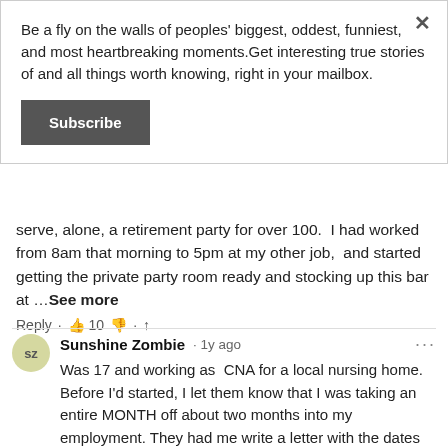Be a fly on the walls of peoples' biggest, oddest, funniest, and most heartbreaking moments.Get interesting true stories of and all things worth knowing, right in your mailbox.
Subscribe
serve, alone, a retirement party for over 100.  I had worked from 8am that morning to 5pm at my other job,  and started getting the private party room ready and stocking up this bar at …See more
Reply · 👍 10 👎 · share
Sunshine Zombie · 1y ago
Was 17 and working as  CNA for a local nursing home. Before I'd started, I let them know that I was taking an  entire MONTH off about two months into my employment. They had me write a letter with the dates down.